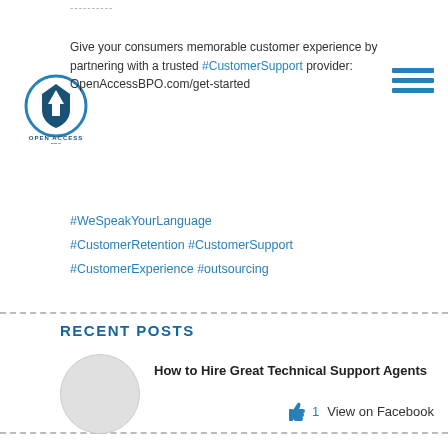----------
Give your consumers memorable customer experience by partnering with a trusted #CustomerSupport provider:
OpenAccessBPO.com/get-started
[Figure (logo): Open Access BPO logo — circular emblem with arrow/shield design, text 'OPEN ACCESS BPO' below]
#WeSpeakYourLanguage
#CustomerRetention #CustomerSupport
#CustomerExperience #outsourcing
👍 1   View on Facebook
RECENT POSTS
How to Hire Great Technical Support Agents
How Open Access BPO Hires Stellar Customer Service Representatives